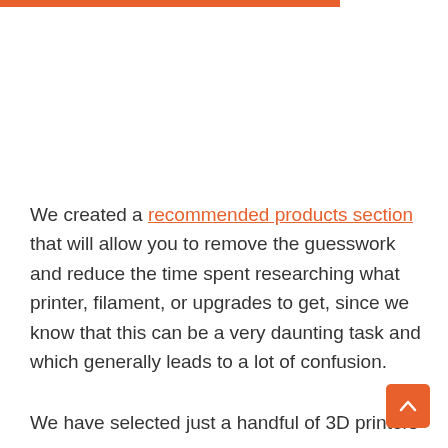We created a recommended products section that will allow you to remove the guesswork and reduce the time spent researching what printer, filament, or upgrades to get, since we know that this can be a very daunting task and which generally leads to a lot of confusion.
We have selected just a handful of 3D printers